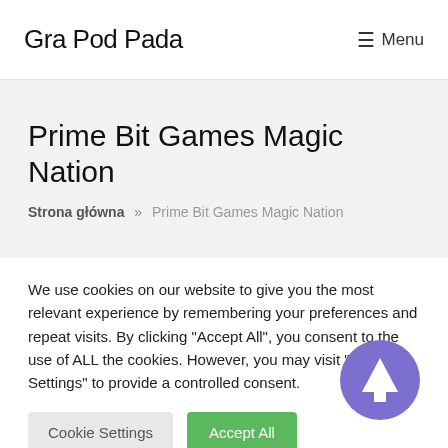Gra Pod Pada  ☰ Menu
Prime Bit Games Magic Nation
Strona główna » Prime Bit Games Magic Nation
We use cookies on our website to give you the most relevant experience by remembering your preferences and repeat visits. By clicking "Accept All", you consent to the use of ALL the cookies. However, you may visit "Cookie Settings" to provide a controlled consent.
[Figure (other): Scroll-to-top button: a purple circle with a white upward-pointing arrow]